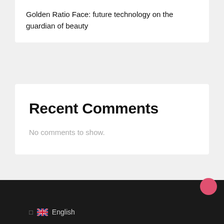Golden Ratio Face: future technology on the guardian of beauty
Recent Comments
No comments to show.
English